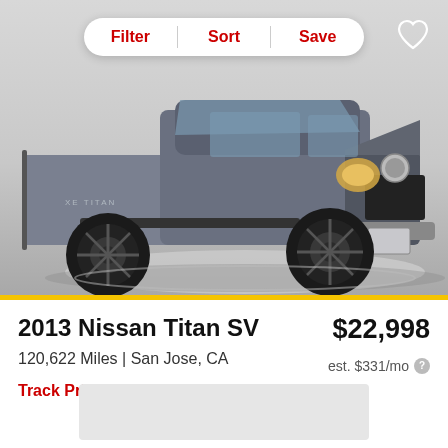[Figure (photo): Gray 2013 Nissan Titan SV pickup truck with black wheels on a white studio turntable background. A Filter | Sort | Save button bar appears at the top center, and a heart/save icon appears at the top right.]
2013 Nissan Titan SV
$22,998
120,622 Miles | San Jose, CA
est. $331/mo
Track Price    Check Availability